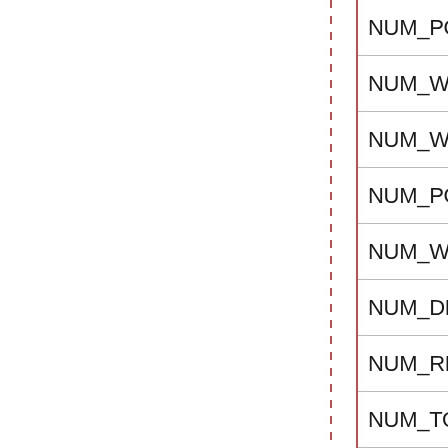| Field Name |
| --- |
| NUM_POTENTIAL_Y... |
| NUM_WATER_LIM_Y... |
| NUM_WATER_LIM_Y... |
| NUM_POTENTIAL_LE... |
| NUM_WATER_LIM_L... |
| NUM_DEVELOPMENT... |
| NUM_RELATIVE_SO... |
| NUM_TOTAL_WATER... |
| NUM_TOTAL_WATER... |